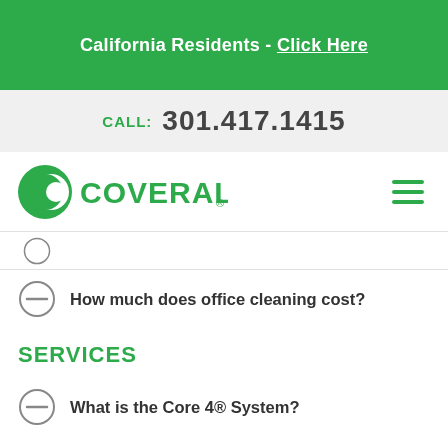California Residents - Click Here
CALL: 301.417.1415
[Figure (logo): Coverall logo - green C circle with COVERALL text]
How much does office cleaning cost?
SERVICES
What is the Core 4® System?